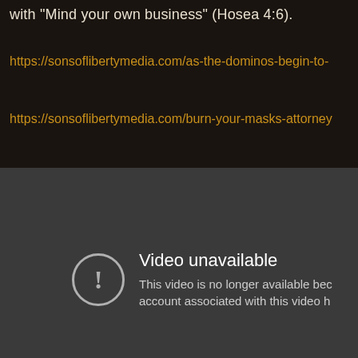with 'Mind your own business' (Hosea 4:6).
https://sonsoflibertymedia.com/as-the-dominos-begin-to-
https://sonsoflibertymedia.com/burn-your-masks-attorney
[Figure (screenshot): YouTube video unavailable message on dark background. Shows a circle with exclamation mark icon and text 'Video unavailable' with subtitle 'This video is no longer available because the account associated with this video h...']